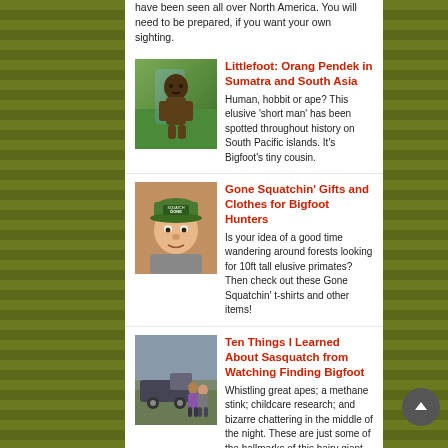have been seen all over North America. You will need to be prepared, if you want your own sighting.
[Figure (photo): Illustration of a large ape-like creature (Bigfoot/Orang Pendek) squatting in a mountainous jungle setting]
Littlefoot: Orang Pendek in Sumatra and South Asia
Human, hobbit or ape? This elusive 'short man' has been spotted throughout history on South Pacific islands. It's Bigfoot's tiny cousin.
[Figure (photo): Photo of a man wearing a 'Gone Squatchin' baseball cap]
Gone Squatchin' Gifts and Clothes for Bigfoot Hunters
Is your idea of a good time wandering around forests looking for 10ft tall elusive primates? Then check out these Gone Squatchin' t-shirts and other items!
[Figure (photo): Photo of people standing outdoors, appears to be a scene from the TV show Finding Bigfoot]
Ten Things I Learned About Sasquatch from Watching Finding Bigfoot
Whistling great apes; a methane stink; childcare research; and bizarre chattering in the middle of the night. These are just some of the hallmarks of this hairy giant.